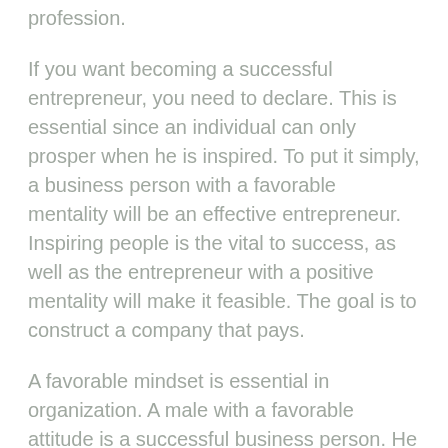profession.
If you want becoming a successful entrepreneur, you need to declare. This is essential since an individual can only prosper when he is inspired. To put it simply, a business person with a favorable mentality will be an effective entrepreneur. Inspiring people is the vital to success, as well as the entrepreneur with a positive mentality will make it feasible. The goal is to construct a company that pays.
A favorable mindset is essential in organization. A male with a favorable attitude is a successful business person. He is also driven by an id as well as has a drive to succeed. Without inspiration, a person will certainly not achieve success in their job. If you don't have this, you must be encouraged to accomplish your objectives as well as reach your full potential. To put it simply, the success of an organization relies on a favorable attitude.